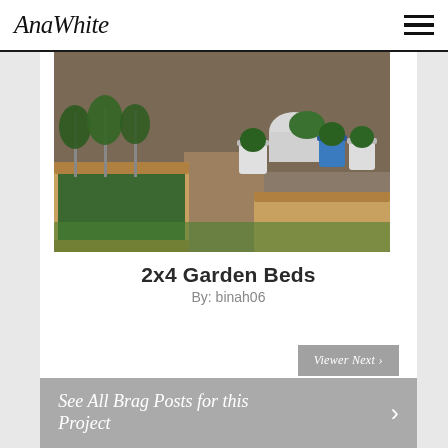AnaWhite
[Figure (photo): Outdoor raised garden beds made of wood, with tomato plants and other vegetables growing, plus potted plants (white, blue, white buckets) along a fence in the background, dirt path between beds]
2x4 Garden Beds
By: binah06
Viewer Next ›
See All Brag Posts for this Project ›